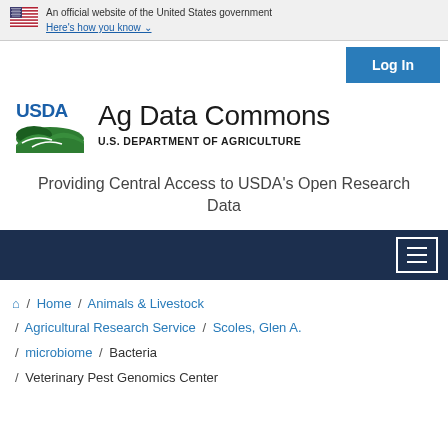An official website of the United States government
Here's how you know ↓
Log In
[Figure (logo): USDA logo with green landscape graphic and USDA text in blue]
Ag Data Commons
U.S. DEPARTMENT OF AGRICULTURE
Providing Central Access to USDA's Open Research Data
[Figure (other): Dark navy navigation bar with hamburger menu icon]
Home / Animals & Livestock / Agricultural Research Service / Scoles, Glen A. / microbiome / Bacteria / Veterinary Pest Genomics Center